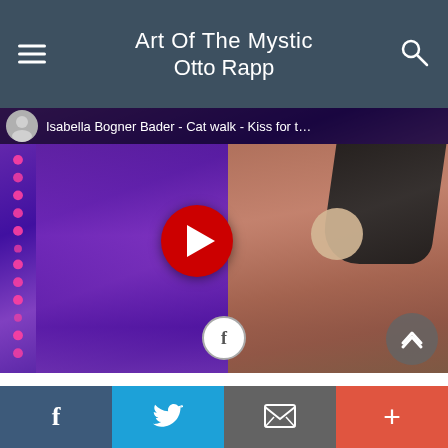Art Of The Mystic Otto Rapp
[Figure (screenshot): YouTube video thumbnail showing Isabella Bogner Bader catwalk fashion show with play button overlay. Title bar reads 'Isabella Bogner Bader - Cat walk - Kiss for t...' with a performer in avant-garde costume on the right and pink dot light display on the left against purple stage lighting.]
Avantgarde fashion show 2011, design by Isabella Bogner Bader, Song Kiss for the Miss
[Figure (infographic): Social media sharing bar with Facebook, Twitter, email/bookmark, and plus buttons at the bottom of the page.]